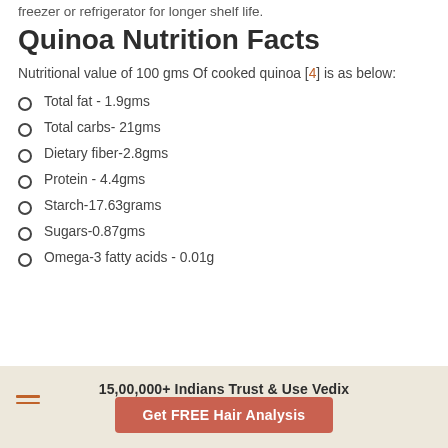freezer or refrigerator for longer shelf life.
Quinoa Nutrition Facts
Nutritional value of 100 gms Of cooked quinoa [4] is as below:
Total fat - 1.9gms
Total carbs- 21gms
Dietary fiber-2.8gms
Protein - 4.4gms
Starch-17.63grams
Sugars-0.87gms
Omega-3 fatty acids - 0.01g
15,00,000+ Indians Trust & Use Vedix
Get FREE Hair Analysis